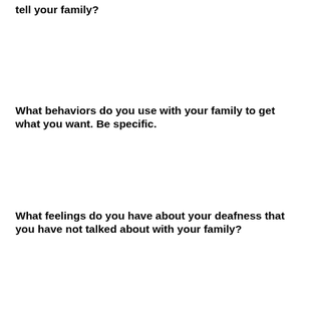tell your family?
What behaviors do you use with your family to get what you want. Be specific.
What feelings do you have about your deafness that you have not talked about with your family?